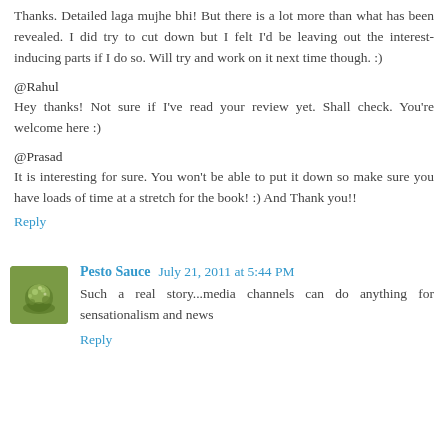Thanks. Detailed laga mujhe bhi! But there is a lot more than what has been revealed. I did try to cut down but I felt I'd be leaving out the interest-inducing parts if I do so. Will try and work on it next time though. :)
@Rahul
Hey thanks! Not sure if I've read your review yet. Shall check. You're welcome here :)
@Prasad
It is interesting for sure. You won't be able to put it down so make sure you have loads of time at a stretch for the book! :) And Thank you!!
Reply
Pesto Sauce  July 21, 2011 at 5:44 PM
Such a real story...media channels can do anything for sensationalism and news
Reply